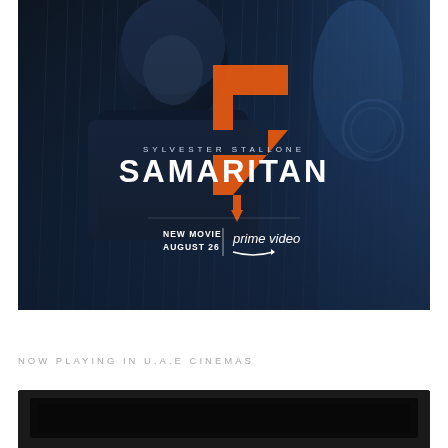[Figure (illustration): Movie promotional poster for 'Samaritan' starring Sylvester Stallone. Dark blue rainy background with a hooded figure (Stallone) in the foreground. Orange lightning bolt 'S' symbol overlaid on the title. Text reads: SYLVESTER STALLONE, SAMARITAN, NEW MOVIE AUGUST 26, prime video. Amazon Prime Video logo shown.]
NOW PLAYING IN U.A.E CINEMAS
[Figure (screenshot): Dark screen/monitor image at the bottom of the page, partially cut off. Black rectangular screen on dark background.]